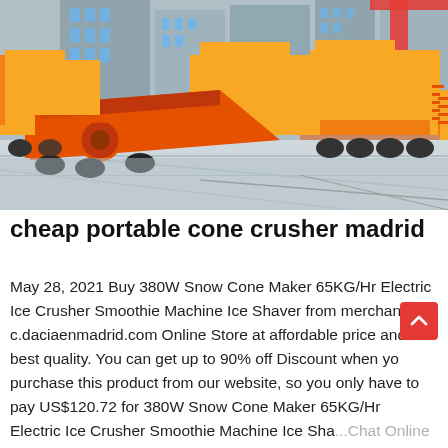[Figure (photo): Photograph of large yellow and orange portable cone crusher and mining/construction machinery parked on a concrete lot, with multi-story buildings in the background. The machines are predominantly yellow with a large orange conveyor belt/hopper unit prominently in the foreground.]
cheap portable cone crusher madrid
May 28, 2021 Buy 380W Snow Cone Maker 65KG/Hr Electric Ice Crusher Smoothie Machine Ice Shaver from merchant c.daciaenmadrid.com Online Store at affordable price and best quality. You can get up to 90% off Discount when you purchase this product from our website, so you only have to pay US$120.72 for 380W Snow Cone Maker 65KG/Hr Electric Ice Crusher Smoothie Machine Ice Sha...